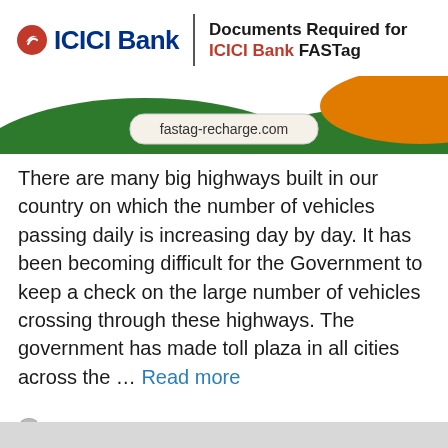Documents Required for ICICI Bank FASTag
[Figure (logo): ICICI Bank logo with red chevron circle and bold navy text, beside a vertical divider and the title 'Documents Required for ICICI Bank FASTag']
[Figure (illustration): Banner graphic with green hills on left and right, orange arc on top right, and 'fastag-recharge.com' text in center on a rounded white/beige label]
There are many big highways built in our country on which the number of vehicles passing daily is increasing day by day. It has been becoming difficult for the Government to keep a check on the large number of vehicles crossing through these highways. The government has made toll plaza in all cities across the ... Read more
Leave a comment